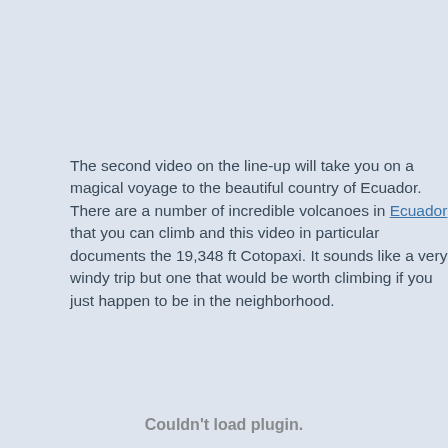The second video on the line-up will take you on a magical voyage to the beautiful country of Ecuador. There are a number of incredible volcanoes in Ecuador that you can climb and this video in particular documents the 19,348 ft Cotopaxi. It sounds like a very windy trip but one that would be worth climbing if you just happen to be in the neighborhood.
Couldn't load plugin.